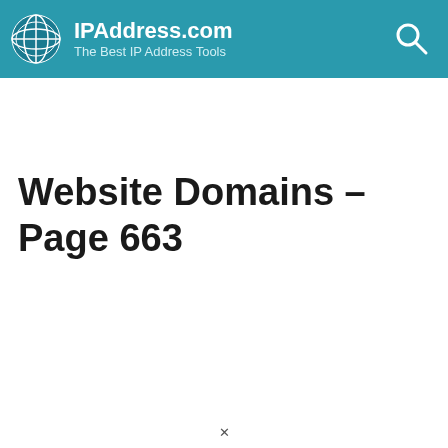IPAddress.com — The Best IP Address Tools
Website Domains - Page 663